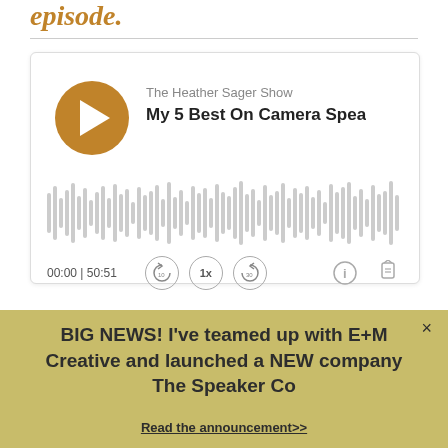episode.
[Figure (screenshot): Podcast player widget for 'The Heather Sager Show' episode 'My 5 Best On Camera Spea...' showing play button, waveform, time 00:00 of 50:51, and playback controls including rewind 10s, 1x speed, forward 30s, info, and share buttons.]
BIG NEWS! I've teamed up with E+M Creative and launched a NEW company The Speaker Co
Read the announcement>>